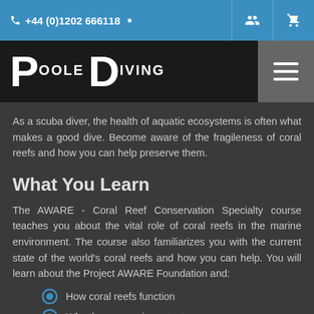+44 (0)1202 666118
[Figure (logo): Poole Diving logo in white on black background with hamburger menu icon]
As a scuba diver, the health of aquatic ecosystems is often what makes a good dive. Become aware of the fragileness of coral reefs and how you can help preserve them.
What You Learn
The AWARE - Coral Reef Conservation Specialty course teaches you about the vital role of coral reefs in the marine environment. The course also familiarizes you with the current state of the world's coral reefs and how you can help. You will learn about the Project AWARE Foundation and:
How coral reefs function
Why they are so important
Where we are from a conservation standpoint